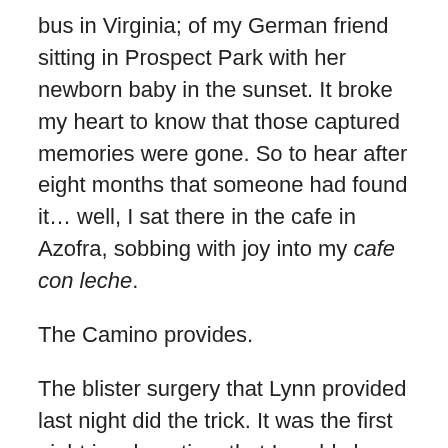bus in Virginia; of my German friend sitting in Prospect Park with her newborn baby in the sunset. It broke my heart to know that those captured memories were gone. So to hear after eight months that someone had found it… well, I sat there in the cafe in Azofra, sobbing with joy into my cafe con leche.
The Camino provides.
The blister surgery that Lynn provided last night did the trick. It was the first night in a long time that I could sleep without pain from accidentally bumping my heels against the mattress. Along with some ibuprofen and making sure to drink a lot of water, my feet felt better today than they have in days.
In the morning, I walked quite a ways with Gian Carlo from Italy. We spoke in a mixture of his iffy English and my iffy